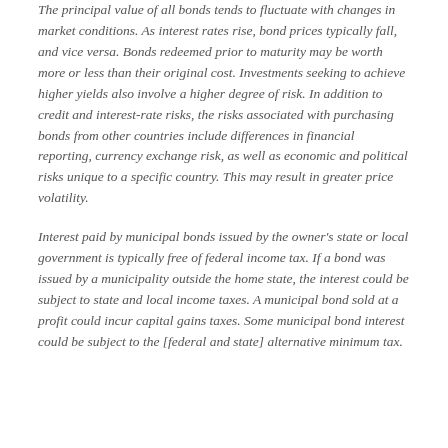The principal value of all bonds tends to fluctuate with changes in market conditions. As interest rates rise, bond prices typically fall, and vice versa. Bonds redeemed prior to maturity may be worth more or less than their original cost. Investments seeking to achieve higher yields also involve a higher degree of risk. In addition to credit and interest-rate risks, the risks associated with purchasing bonds from other countries include differences in financial reporting, currency exchange risk, as well as economic and political risks unique to a specific country. This may result in greater price volatility.
Interest paid by municipal bonds issued by the owner's state or local government is typically free of federal income tax. If a bond was issued by a municipality outside the home state, the interest could be subject to state and local income taxes. A municipal bond sold at a profit could incur capital gains taxes. Some municipal bond interest could be subject to the [federal and state] alternative minimum tax.